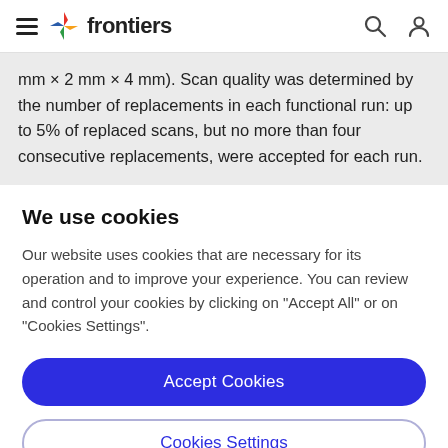frontiers
mm × 2 mm × 4 mm). Scan quality was determined by the number of replacements in each functional run: up to 5% of replaced scans, but no more than four consecutive replacements, were accepted for each run.
We use cookies
Our website uses cookies that are necessary for its operation and to improve your experience. You can review and control your cookies by clicking on "Accept All" or on "Cookies Settings".
Accept Cookies
Cookies Settings